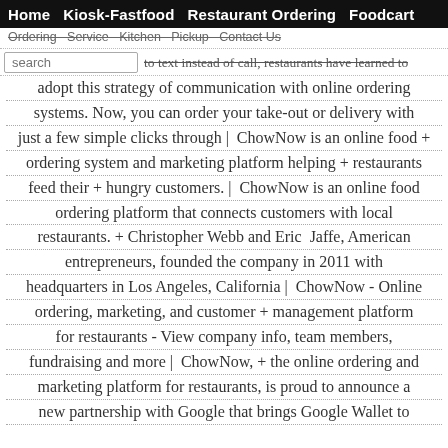Home  Kiosk-Fastfood  Restaurant Ordering  Foodcart
everything, including the way we order food. In an age of being able to text instead of call, restaurants have learned to adopt this strategy of communication with online ordering systems. Now, you can order your take-out or delivery with just a few simple clicks through | ChowNow is an online food + ordering system and marketing platform helping + restaurants feed their + hungry customers. | ChowNow is an online food ordering platform that connects customers with local restaurants. + Christopher Webb and Eric Jaffe, American entrepreneurs, founded the company in 2011 with headquarters in Los Angeles, California | ChowNow - Online ordering, marketing, and customer + management platform for restaurants - View company info, team members, fundraising and more | ChowNow, + the online ordering and marketing platform for restaurants, is proud to announce a new partnership with Google that brings Google Wallet to